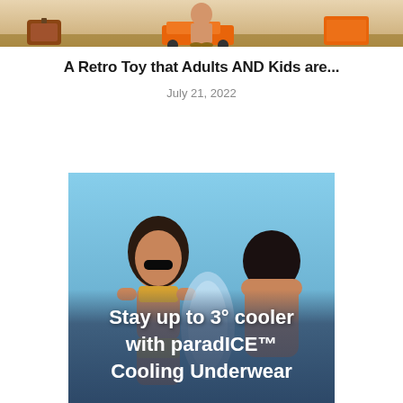[Figure (photo): Top banner image showing retro toys scene with brown luggage, orange vehicles, and figures on a warm-toned background]
A Retro Toy that Adults AND Kids are...
July 21, 2022
[Figure (photo): Advertisement image showing two people in swimwear (woman in yellow bikini with large black sunglasses, man shirtless with dark helmet/mask) against a blue sky background, with overlay text reading 'Stay up to 3° cooler with paradICE™ Cooling Underwear']